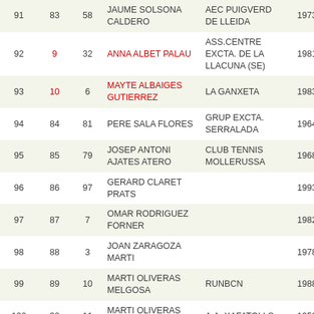| # |  |  | Name | Club | Year | Cat |
| --- | --- | --- | --- | --- | --- | --- |
| 91 | 83 | 58 | JAUME SOLSONA CALDERO | AEC PUIGVERD DE LLEIDA | 1973 | VET-M |
| 92 | 9 | 32 | ANNA ALBET PALAU | ASS.CENTRE EXCTA. DE LA LLACUNA (SE) | 1981 | SNR-F |
| 93 | 10 | 6 | MAYTE ALBAIGES GUTIERREZ | LA GANXETA | 1983 | SNR-F |
| 94 | 84 | 81 | PERE SALA FLORES | GRUP EXCTA. SERRALADA | 1964 | VET-M |
| 95 | 85 | 79 | JOSEP ANTONI AJATES ATERO | CLUB TENNIS MOLLERUSSA | 1968 | VET-M |
| 96 | 86 | 97 | GERARD CLARET PRATS |  | 1993 | JNR-M |
| 97 | 87 | 7 | OMAR RODRIGUEZ FORNER |  | 1982 | SNR-M |
| 98 | 88 | 3 | JOAN ZARAGOZA MARTI |  | 1978 | SNR-M |
| 99 | 89 | 10 | MARTI OLIVERAS MELGOSA | RUNBCN | 1988 | SNR-M |
| 100 | 90 | 11 | MARTI OLIVERAS ROSES | A.A. XAFATOLLS | 1953 | MTR-M |
| 101 | 91 | 19 | ENRIC CAMARASA ARGERICH | KAMA TEAM | 1977 | SNR-M |